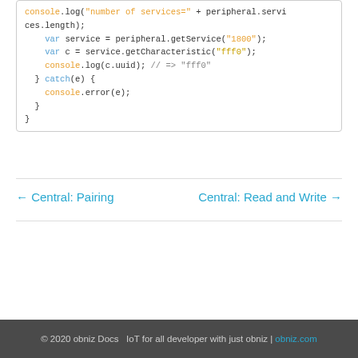code block showing console.log, var service, var c, catch block
← Central: Pairing
Central: Read and Write →
© 2020 obniz Docs   IoT for all developer with just obniz | obniz.com